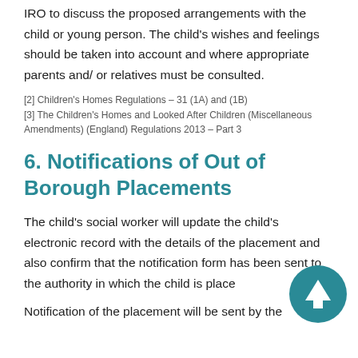IRO to discuss the proposed arrangements with the child or young person. The child's wishes and feelings should be taken into account and where appropriate parents and/ or relatives must be consulted.
[2] Children's Homes Regulations – 31 (1A) and (1B)
[3] The Children's Homes and Looked After Children (Miscellaneous Amendments) (England) Regulations 2013 – Part 3
6. Notifications of Out of Borough Placements
The child's social worker will update the child's electronic record with the details of the placement and also confirm that the notification form has been sent to the authority in which the child is placed.
Notification of the placement will be sent by the